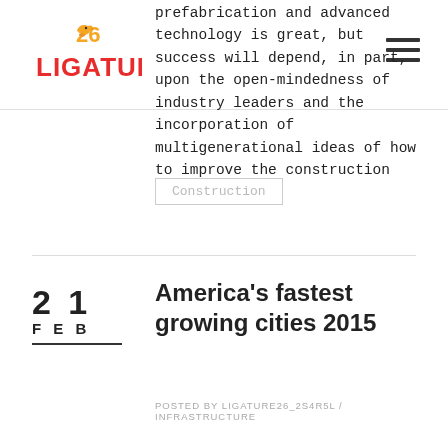Ligature 26 — logo and navigation
prefabrication and advanced technology is great, but success will depend, in part, upon the open-mindedness of industry leaders and the incorporation of multigenerational ideas of how to improve the construction process.
Construction
21 FEB
America's fastest growing cities 2015
POSTED BY LIGATURE26_2S4R5L / INFRASTRUCTURE